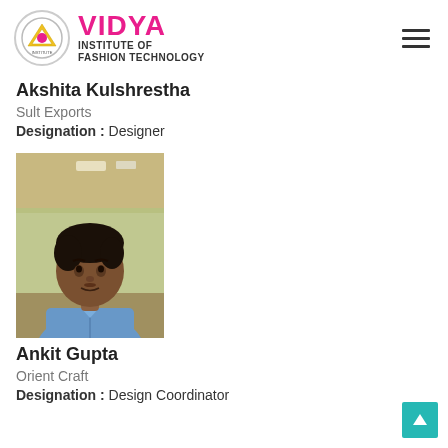VIDYA INSTITUTE OF FASHION TECHNOLOGY
Akshita Kulshrestha
Sult Exports
Designation : Designer
[Figure (photo): Portrait photo of Ankit Gupta, a young man wearing a blue shirt, taken indoors]
Ankit Gupta
Orient Craft
Designation : Design Coordinator